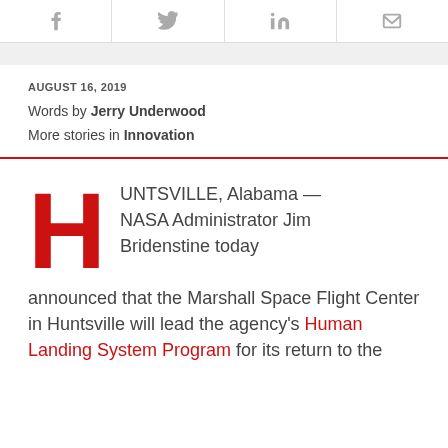[Figure (other): Social media share icons bar: Facebook, Twitter, LinkedIn, Email]
AUGUST 16, 2019
Words by Jerry Underwood
More stories in Innovation
HUNTSVILLE, Alabama — NASA Administrator Jim Bridenstine today announced that the Marshall Space Flight Center in Huntsville will lead the agency's Human Landing System Program for its return to the